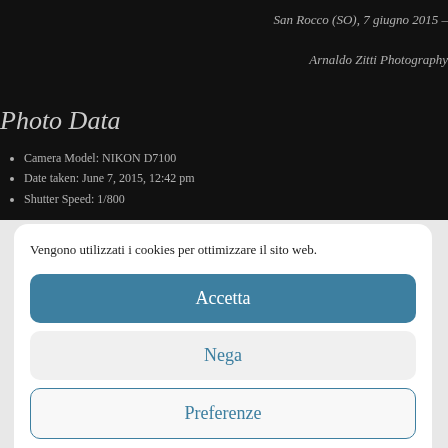San Rocco (SO), 7 giugno 2015 –
Arnaldo Zitti Photography
Photo Data
Camera Model: NIKON D7100
Date taken: June 7, 2015, 12:42 pm
Shutter Speed: 1/800
Vengono utilizzati i cookies per ottimizzare il sito web.
Accetta
Nega
Preferenze
Cookie Policy  Privacy Policy